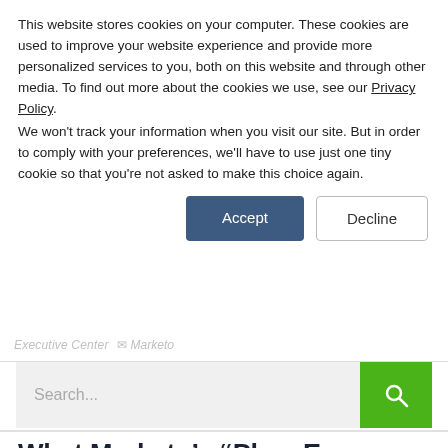This website stores cookies on your computer. These cookies are used to improve your website experience and provide more personalized services to you, both on this website and through other media. To find out more about the cookies we use, see our Privacy Policy.
We won't track your information when you visit our site. But in order to comply with your preferences, we'll have to use just one tiny cookie so that you're not asked to make this choice again.
Accept
Decline
Executive Center    @ Marketo
Search...
What Marketo’s “Plan, Engage, Measure” Means for Marketers in the #RunMarketing Movement